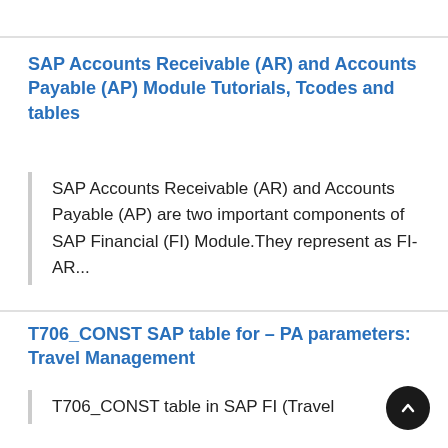SAP Accounts Receivable (AR) and Accounts Payable (AP) Module Tutorials, Tcodes and tables
SAP Accounts Receivable (AR) and Accounts Payable (AP) are two important components of SAP Financial (FI) Module.They represent as FI-AR...
T706_CONST SAP table for – PA parameters: Travel Management
T706_CONST table in SAP FI (Travel